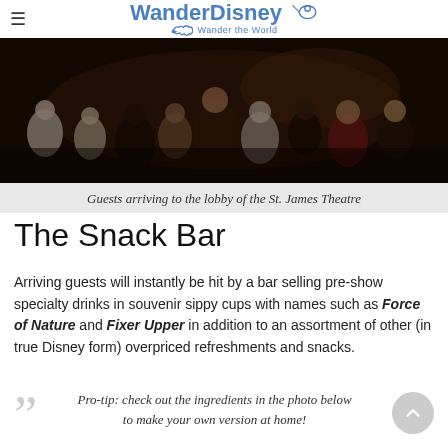WanderDisney – Wander the World
[Figure (photo): Crowd of guests arriving to the lobby of the St. James Theatre, dark interior scene]
Guests arriving to the lobby of the St. James Theatre
The Snack Bar
Arriving guests will instantly be hit by a bar selling pre-show specialty drinks in souvenir sippy cups with names such as Force of Nature and Fixer Upper in addition to an assortment of other (in true Disney form) overpriced refreshments and snacks.
Pro-tip: check out the ingredients in the photo below to make your own version at home!